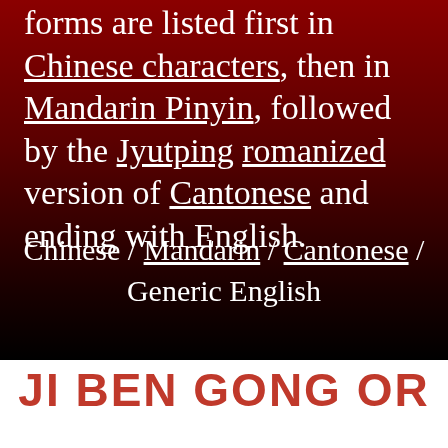forms are listed first in Chinese characters, then in Mandarin Pinyin, followed by the Jyutping romanized version of Cantonese and ending with English.
Chinese / Mandarin / Cantonese / Generic English
JI BEN GONG OR BASIC SKILLS